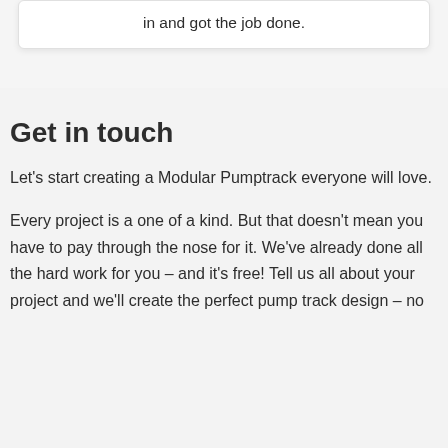in and got the job done.
Get in touch
Let's start creating a Modular Pumptrack everyone will love.
Every project is a one of a kind. But that doesn't mean you have to pay through the nose for it. We've already done all the hard work for you – and it's free! Tell us all about your project and we'll create the perfect pump track design – no